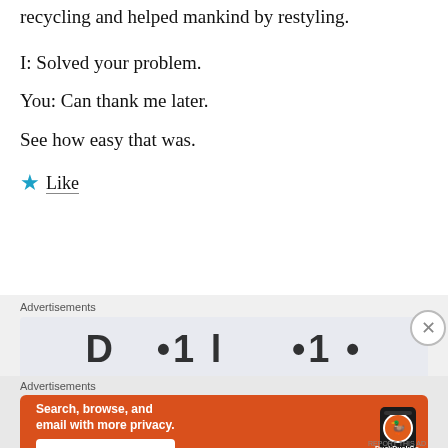recycling and helped mankind by restyling.
I: Solved your problem.
You: Can thank me later.
See how easy that was.
★ Like
Advertisements
[Figure (screenshot): Partially visible advertisement banner with large bold lettering, clipped at bottom]
Advertisements
[Figure (screenshot): DuckDuckGo advertisement: orange background with white bold text 'Search, browse, and email with more privacy.' and button 'All in One Free App', with phone showing DuckDuckGo logo on right side]